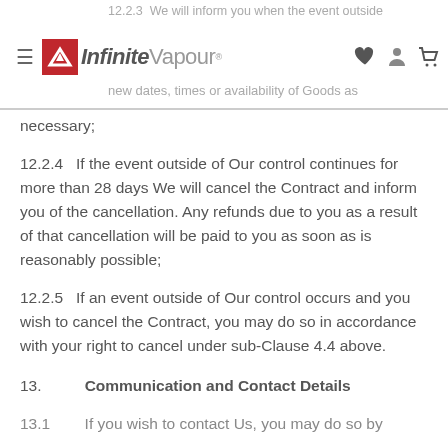12.2.3  We will inform you when the event outside ... new dates, times or availability of Goods as
necessary;
12.2.4   If the event outside of Our control continues for more than 28 days We will cancel the Contract and inform you of the cancellation. Any refunds due to you as a result of that cancellation will be paid to you as soon as is reasonably possible;
12.2.5   If an event outside of Our control occurs and you wish to cancel the Contract, you may do so in accordance with your right to cancel under sub-Clause 4.4 above.
13.        Communication and Contact Details
13.1       If you wish to contact Us, you may do so by